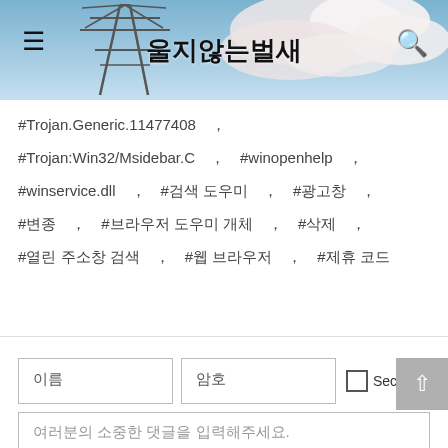울지않는벌새
#Trojan.Generic.11477408 , #Trojan:Win32/Msidebar.C , #winopenhelp , #winservice.dll , #검색 도우미 , #광고창 , #변종 , #브라우저 도우미 개체 , #삭제 , #열린 주소창 검색 , #웹 브라우저 , #제휴 코드
이름
암호
Secret
여러분의 소중한 댓글을 입력해주세요.